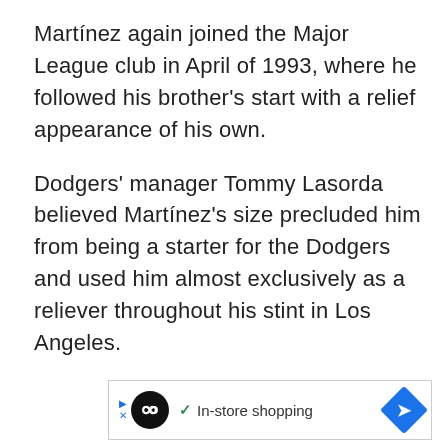Martínez again joined the Major League club in April of 1993, where he followed his brother's start with a relief appearance of his own.
Dodgers' manager Tommy Lasorda believed Martínez's size precluded him from being a starter for the Dodgers and used him almost exclusively as a reliever throughout his stint in Los Angeles.
[Figure (other): Advertisement banner with a black circular icon containing an infinity-like symbol, a checkmark, the text 'In-store shopping', and a blue diamond-shaped arrow icon on the right.]